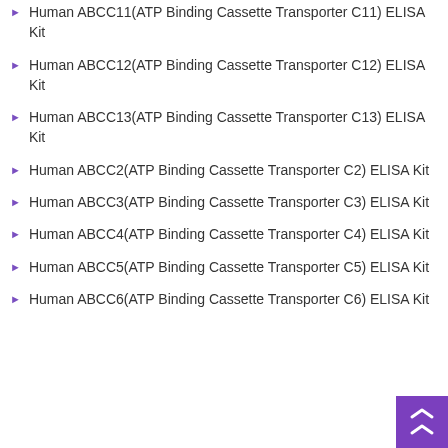Human ABCC11(ATP Binding Cassette Transporter C11) ELISA Kit
Human ABCC12(ATP Binding Cassette Transporter C12) ELISA Kit
Human ABCC13(ATP Binding Cassette Transporter C13) ELISA Kit
Human ABCC2(ATP Binding Cassette Transporter C2) ELISA Kit
Human ABCC3(ATP Binding Cassette Transporter C3) ELISA Kit
Human ABCC4(ATP Binding Cassette Transporter C4) ELISA Kit
Human ABCC5(ATP Binding Cassette Transporter C5) ELISA Kit
Human ABCC6(ATP Binding Cassette Transporter C6) ELISA Kit